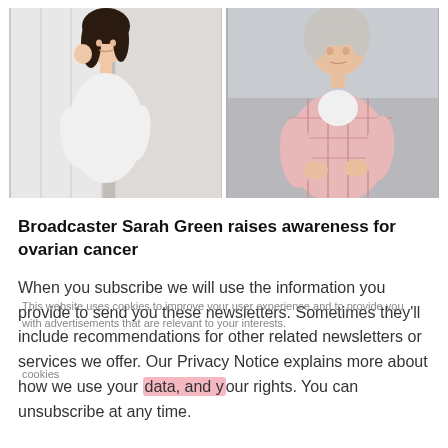[Figure (photo): Two photos side by side: left shows a young Asian woman in white clothing holding her stomach and touching her cheek with a concerned expression; right shows an older woman in a pink plaid shirt holding her abdomen with a worried expression.]
Broadcaster Sarah Green raises awareness for ovarian cancer
When you subscribe we will use the information you provide to send you these newsletters. Sometimes they'll include recommendations for other related newsletters or services we offer. Our Privacy Notice explains more about how we use your data, and your rights. You can unsubscribe at any time.